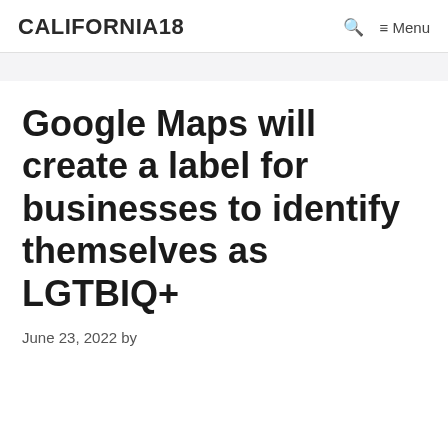CALIFORNIA18   🔍   ≡ Menu
Google Maps will create a label for businesses to identify themselves as LGTBIQ+
June 23, 2022 by